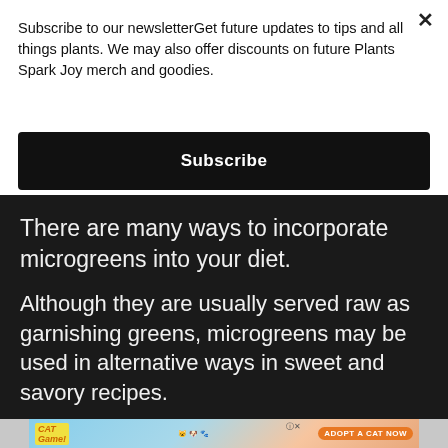Subscribe to our newsletterGet future updates to tips and all things plants. We may also offer discounts on future Plants Spark Joy merch and goodies.
Subscribe
There are many ways to incorporate microgreens into your diet.
Although they are usually served raw as garnishing greens, microgreens may be used in alternative ways in sweet and savory recipes.
[Figure (illustration): Advertisement banner for a cat game showing cartoon cats with text 'ADOPT A CAT NOW']